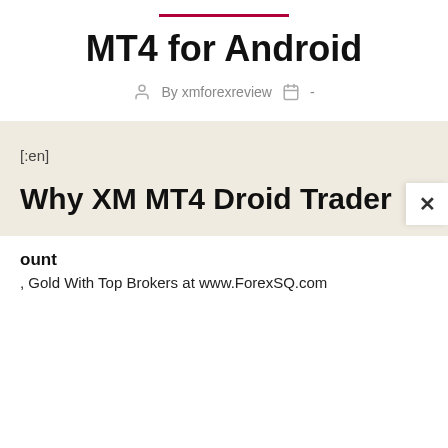MT4 for Android
By xmforexreview  -
[:en]
Why XM MT4 Droid Trader is
ount
, Gold With Top Brokers at www.ForexSQ.com